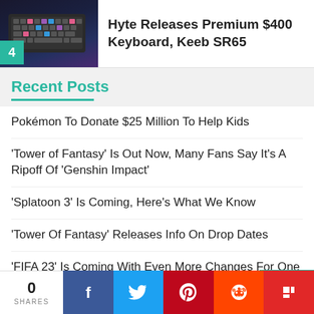[Figure (photo): Thumbnail image of a keyboard with RGB lighting, showing number 4 badge in teal]
Hyte Releases Premium $400 Keyboard, Keeb SR65
Recent Posts
Pokémon To Donate $25 Million To Help Kids
'Tower of Fantasy' Is Out Now, Many Fans Say It's A Ripoff Of 'Genshin Impact'
'Splatoon 3' Is Coming, Here's What We Know
'Tower Of Fantasy' Releases Info On Drop Dates
'FIFA 23' Is Coming With Even More Changes For One Last Hurrah
0 SHARES | Facebook | Twitter | Pinterest | Reddit | Flipboard